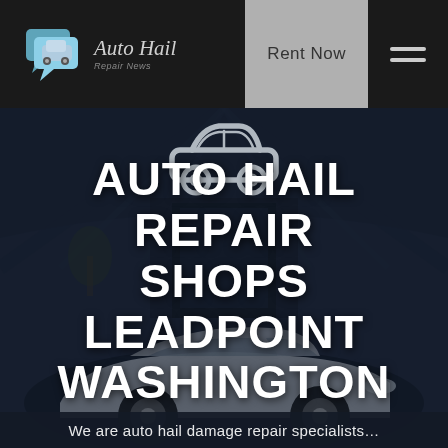[Figure (logo): Auto Hail Repair News logo with speech bubble car icon and italic script text]
Rent Now
[Figure (illustration): Car silhouette icon centered over dark garage/warehouse hero background image with sports car visible at bottom]
AUTO HAIL REPAIR SHOPS LEADPOINT WASHINGTON
We are auto hail damage repair specialists...